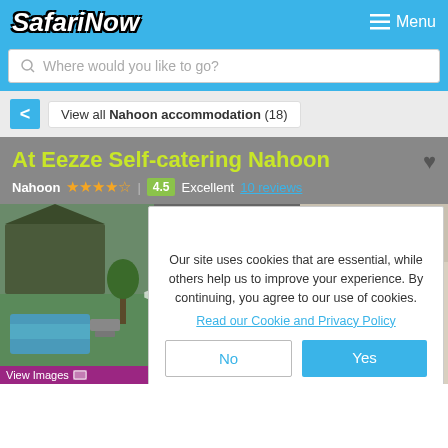SafariNow   Menu
Where would you like to go?
< View all Nahoon accommodation (18)
At Eezze Self-catering Nahoon
Nahoon  ★★★★½  |  4.5  Excellent  10 reviews
Our site uses cookies that are essential, while others help us to improve your experience. By continuing, you agree to our use of cookies.
Read our Cookie and Privacy Policy
No
Yes
[Figure (photo): Photo of At Eezze Self-catering Nahoon showing pool and outdoor area on the left, interior room on the right]
View Images